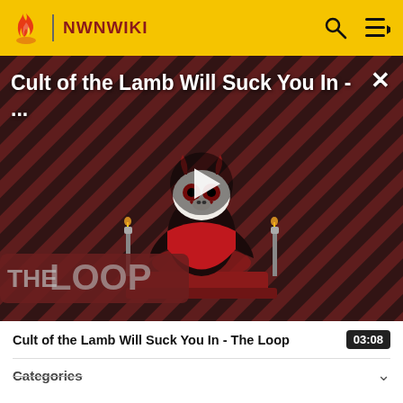NWNWIKI
[Figure (screenshot): Video thumbnail showing animated lamb character on red and black diagonal striped background with 'THE LOOP' text overlay. Title reads 'Cult of the Lamb Will Suck You In - ...' with a play button in the center and close (X) button in top right.]
Cult of the Lamb Will Suck You In - The Loop
03:08
Categories
Community content is available under CC-BY-SA unless otherwise noted.